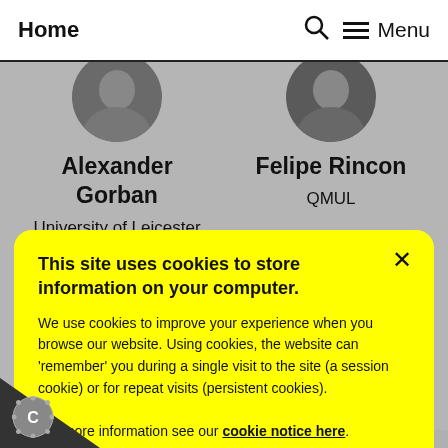Home    Menu
[Figure (photo): Circular profile photo of Alexander Gorban, partially cropped at top]
Alexander Gorban
University of Leicester
[Figure (photo): Circular profile photo of Felipe Rincon, partially cropped at top]
Felipe Rincon
QMUL
This site uses cookies to store information on your computer.

We use cookies to improve your experience when you browse our website. Using cookies, the website can 'remember' you during a single visit to the site (a session cookie) or for repeat visits (persistent cookies).

For more information see our cookie notice here.

You can enable all cookies and save (recommended) by clicking the button. Or you can enable or disable specific